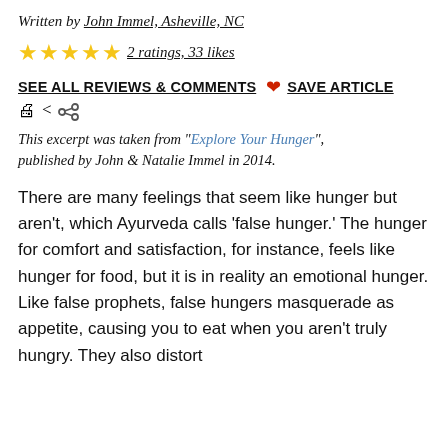Written by John Immel, Asheville, NC
★★★★★ 2 ratings, 33 likes
SEE ALL REVIEWS & COMMENTS ❤ SAVE ARTICLE 🖨 ⬡
This excerpt was taken from "Explore Your Hunger", published by John & Natalie Immel in 2014.
There are many feelings that seem like hunger but aren't, which Ayurveda calls 'false hunger.' The hunger for comfort and satisfaction, for instance, feels like hunger for food, but it is in reality an emotional hunger. Like false prophets, false hungers masquerade as appetite, causing you to eat when you aren't truly hungry. They also distort